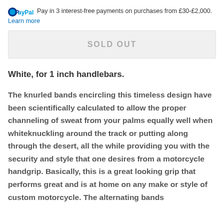PayPal  Pay in 3 interest-free payments on purchases from £30-£2,000. Learn more
SOLD OUT
White, for 1 inch handlebars.
The knurled bands encircling this timeless design have been scientifically calculated to allow the proper channeling of sweat from your palms equally well when whiteknuckling around the track or putting along through the desert, all the while providing you with the security and style that one desires from a motorcycle handgrip. Basically, this is a great looking grip that performs great and is at home on any make or style of custom motorcycle. The alternating bands